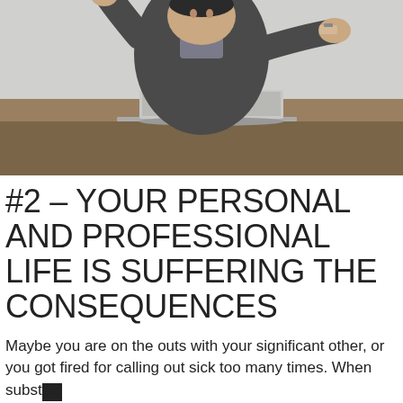[Figure (photo): Man in suit sitting at desk with laptop, appearing to point at or gesture toward the camera, with a frustrated or assertive expression]
#2 – YOUR PERSONAL AND PROFESSIONAL LIFE IS SUFFERING THE CONSEQUENCES
Maybe you are on the outs with your significant other, or you got fired for calling out sick too many times. When substance abuse and mental health struggles are getting in the way